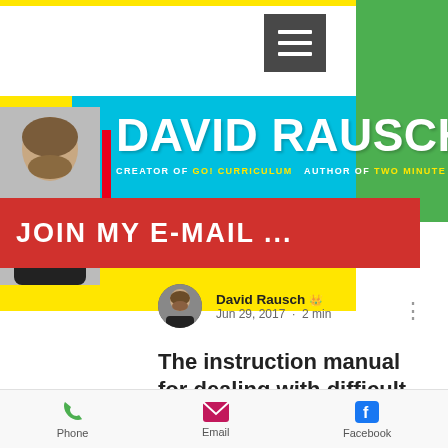[Figure (screenshot): Website header banner for David Rausch with blue background, large white bold text 'DAVID RAUSCH', subtitle 'CREATOR OF GO! CURRICULUM  AUTHOR OF TWO MINUTE TRAINER', a person photo on left, yellow background, red accent stripe, green sidebar, hamburger menu icon, and red 'JOIN MY E-MAIL ...' button]
David Rausch 👑
Jun 29, 2017 · 2 min
The instruction manual for dealing with difficult kids
"Uhg! This doesn't look anything like the
[Figure (infographic): Bottom toolbar with Phone (green phone icon), Email (pink/red envelope icon), Facebook (blue Facebook icon)]